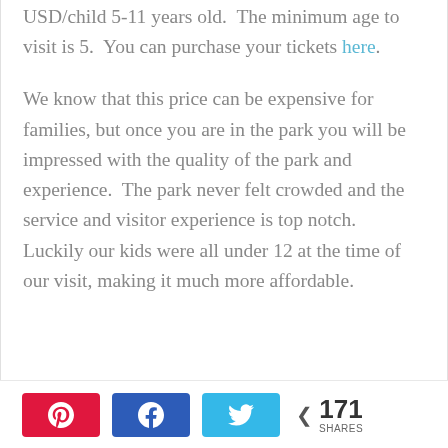USD/child 5-11 years old.  The minimum age to visit is 5.  You can purchase your tickets here.
We know that this price can be expensive for families, but once you are in the park you will be impressed with the quality of the park and experience.  The park never felt crowded and the service and visitor experience is top notch.  Luckily our kids were all under 12 at the time of our visit, making it much more affordable.
171 SHARES (Pinterest, Facebook, Twitter share buttons)